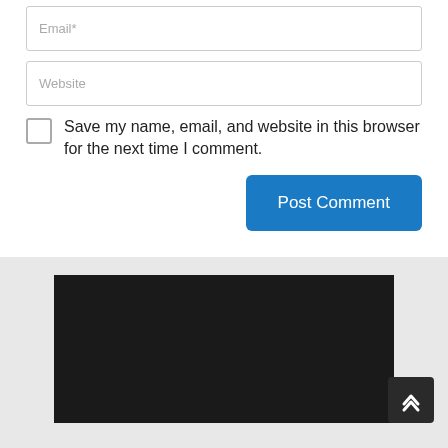[Figure (screenshot): Email input field with placeholder text 'Email*']
[Figure (screenshot): Website input field with placeholder text 'Website']
Save my name, email, and website in this browser for the next time I comment.
[Figure (screenshot): Post Comment button (blue, rounded)]
[Figure (screenshot): Dark black image block in gray section with back-to-top arrow button]